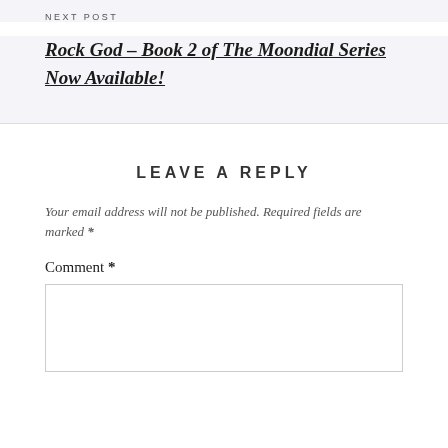NEXT POST
Rock God – Book 2 of The Moondial Series Now Available!
LEAVE A REPLY
Your email address will not be published. Required fields are marked *
Comment *